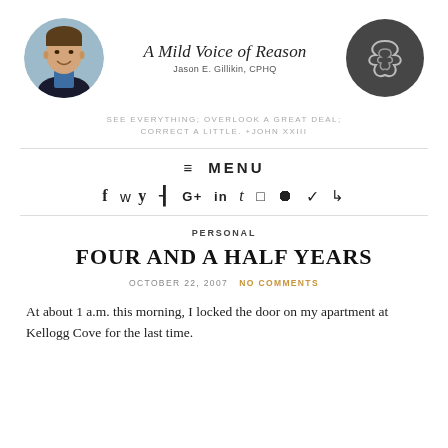[Figure (photo): Circular avatar photo of a man in a suit (Jason E. Gillikin)]
A Mild Voice of Reason
Jason E. Gillikin, CPHQ
[Figure (logo): Dark circular logo with stylized swoosh/clover design]
SEE EVERYTHING; OVERLOOK A GREAT DEAL; CORRECT A LITTLE. +JOHN XXIII
≡ MENU
f  ✦  ◉  G+  in  t  ▣  ◎  ∨  ⋊ (social media icons)
PERSONAL
FOUR AND A HALF YEARS
OCTOBER 22, 2007   NO COMMENTS
At about 1 a.m. this morning, I locked the door on my apartment at Kellogg Cove for the last time.